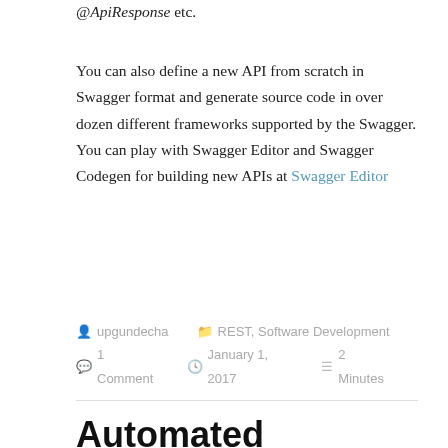@ApiResponse etc.
You can also define a new API from scratch in Swagger format and generate source code in over dozen different frameworks supported by the Swagger. You can play with Swagger Editor and Swagger Codegen for building new APIs at Swagger Editor
upgundecha   REST, Software Development   1 Comment   January 1, 2017   2 Minutes
Automated Acceptance testing for Mainframe with Cucumber and